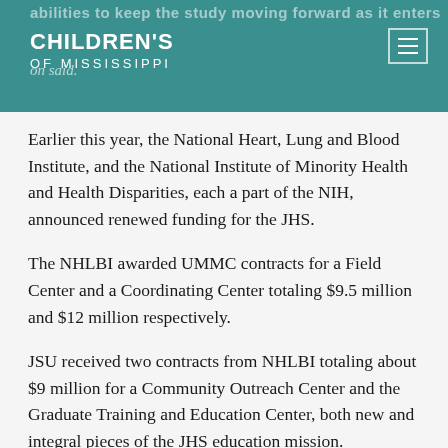CHILDREN'S OF MISSISSIPPI
Earlier this year, the National Heart, Lung and Blood Institute, and the National Institute of Minority Health and Health Disparities, each a part of the NIH, announced renewed funding for the JHS.
The NHLBI awarded UMMC contracts for a Field Center and a Coordinating Center totaling $9.5 million and $12 million respectively.
JSU received two contracts from NHLBI totaling about $9 million for a Community Outreach Center and the Graduate Training and Education Center, both new and integral pieces of the JHS education mission.
Tougaloo received approximately $6 million from the